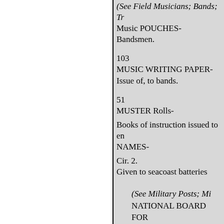(See Field Musicians; Bands; Tr...
Music POUCHES-
Bandsmen.
103
MUSIC WRITING PAPER-
Issue of, to bands.
51
MUSTER Rolls-
Books of instruction issued to en...
NAMES-
Cir. 2.
Given to seacoast batteries
(See Military Posts; Mi...
NATIONAL BOARD FOR...
Changes in personnel of
Extracts from proceedings o...
Cir. 29. 53
NATIONAL CEMETERIES-
Appropriations